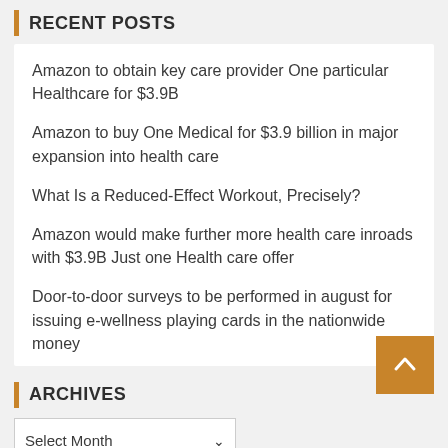RECENT POSTS
Amazon to obtain key care provider One particular Healthcare for $3.9B
Amazon to buy One Medical for $3.9 billion in major expansion into health care
What Is a Reduced-Effect Workout, Precisely?
Amazon would make further more health care inroads with $3.9B Just one Health care offer
Door-to-door surveys to be performed in august for issuing e-wellness playing cards in the nationwide money
ARCHIVES
Select Month